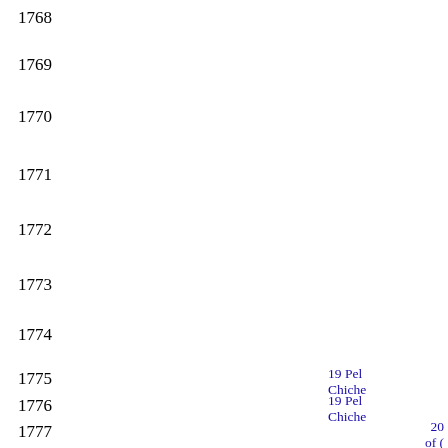1768
1769
1770
1771
1772
1773
1774
1775
1776
1777